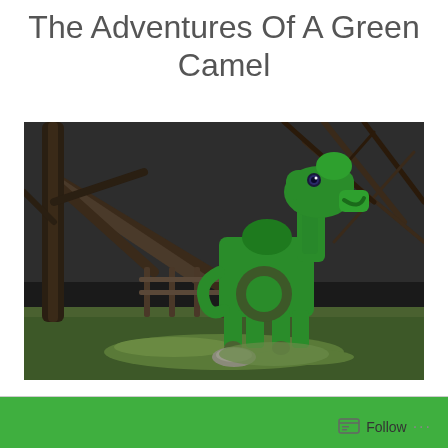The Adventures Of A Green Camel
[Figure (photo): A bright green metal camel sculpture standing on a grassy lawn with bare trees and dark wooded area in the background. The sculpture is stylized and flat, with cutout shapes forming the body and legs.]
Follow ...